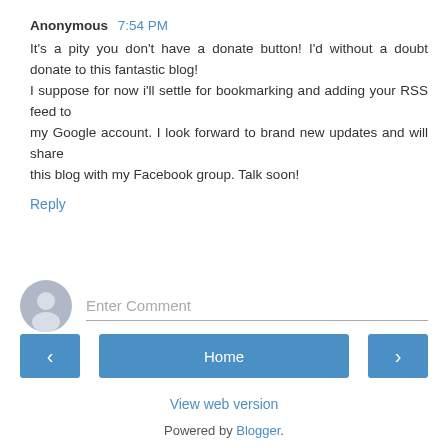Anonymous 7:54 PM
It's a pity you don't have a donate button! I'd without a doubt donate to this fantastic blog!
I suppose for now i'll settle for bookmarking and adding your RSS feed to
my Google account. I look forward to brand new updates and will share
this blog with my Facebook group. Talk soon!
Reply
[Figure (illustration): Grey avatar/user icon circle for comment input]
Enter Comment
< Home >
View web version
Powered by Blogger.